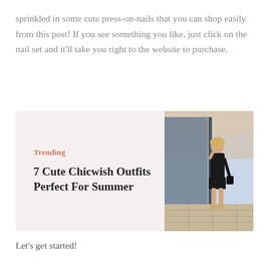sprinkled in some cute press-on-nails that you can shop easily from this post! If you see something you like, just click on the nail set and it'll take you right to the website to purchase.
[Figure (infographic): Trending article card with salmon-colored 'Trending' label, bold title '7 Cute Chicwish Outfits Perfect For Summer', and a photo of a woman in a black outfit standing near a glass wall outdoors.]
Let's get started!